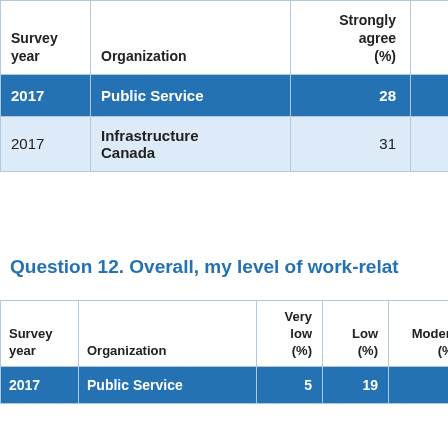| Survey year | Organization | Strongly agree (%) | Somewhat agree (%) |
| --- | --- | --- | --- |
| 2017 | Public Service | 28 |  |
| 2017 | Infrastructure Canada | 31 |  |
Question 12. Overall, my level of work-relat...
| Survey year | Organization | Very low (%) | Low (%) | Moderate (%) |
| --- | --- | --- | --- | --- |
| 2017 | Public Service | 5 | 19 |  |